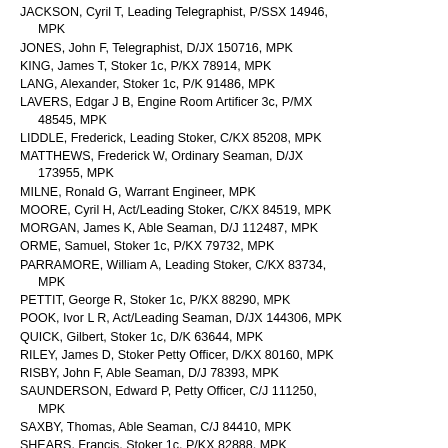JACKSON, Cyril T, Leading Telegraphist, P/SSX 14946, MPK
JONES, John F, Telegraphist, D/JX 150716, MPK
KING, James T, Stoker 1c, P/KX 78914, MPK
LANG, Alexander, Stoker 1c, P/K 91486, MPK
LAVERS, Edgar J B, Engine Room Artificer 3c, P/MX 48545, MPK
LIDDLE, Frederick, Leading Stoker, C/KX 85208, MPK
MATTHEWS, Frederick W, Ordinary Seaman, D/JX 173955, MPK
MILNE, Ronald G, Warrant Engineer, MPK
MOORE, Cyril H, Act/Leading Stoker, C/KX 84519, MPK
MORGAN, James K, Able Seaman, D/J 112487, MPK
ORME, Samuel, Stoker 1c, P/KX 79732, MPK
PARRAMORE, William A, Leading Stoker, C/KX 83734, MPK
PETTIT, George R, Stoker 1c, P/KX 88290, MPK
POOK, Ivor L R, Act/Leading Seaman, D/JX 144306, MPK
QUICK, Gilbert, Stoker 1c, D/K 63644, MPK
RILEY, James D, Stoker Petty Officer, D/KX 80160, MPK
RISBY, John F, Able Seaman, D/J 78393, MPK
SAUNDERSON, Edward P, Petty Officer, C/J 111250, MPK
SAXBY, Thomas, Able Seaman, C/J 84410, MPK
SHEARS, Francis, Stoker 1c, P/KX 82888, MPK
SHIMMIN, James, Leading Seaman, D/JX 126301, MPK
SMITH, Michael J R, Lieutenant, MPK
SMYTH, Thomas, Petty Officer Steward, D/LX 20229, MPK
SPITE, Kenneth F, Seaman, RNR, C/X 20796 A, MPK